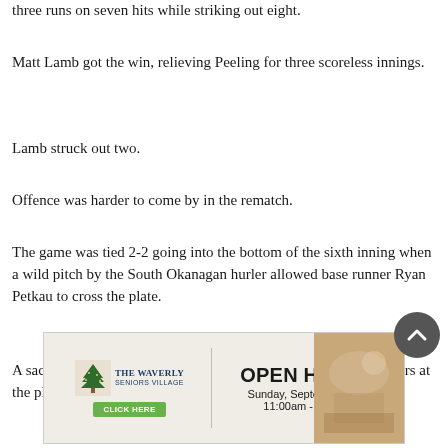three runs on seven hits while striking out eight.
Matt Lamb got the win, relieving Peeling for three scoreless innings.
Lamb struck out two.
Offence was harder to come by in the rematch.
The game was tied 2-2 going into the bottom of the sixth inning when a wild pitch by the South Okanagan hurler allowed base runner Ryan Petkau to cross the plate.
A sacrifice bunt by Nerbas added  the insurance run. Top producers at the plate were Donovan Moorman, with the
[Figure (other): Advertisement for The Waverly Seniors Village Open House, Sunday September 11th 11:00am-3:00pm, with Click Here button and decorative photo]